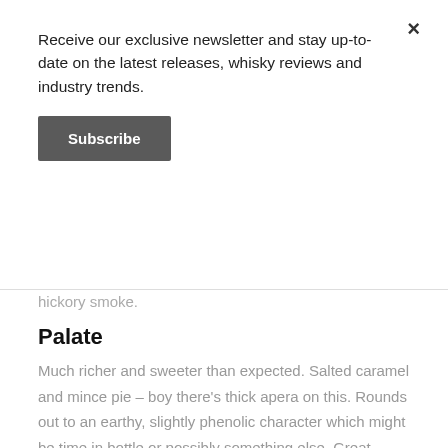Receive our exclusive newsletter and stay up-to-date on the latest releases, whisky reviews and industry trends.
Subscribe
hickory smoke.
Palate
Much richer and sweeter than expected. Salted caramel and mince pie – boy there's thick apera on this. Rounds out to an earthy, slightly phenolic character which might be time in bottle or possibly something else. Great balance between spirit and oak, too.
Finish